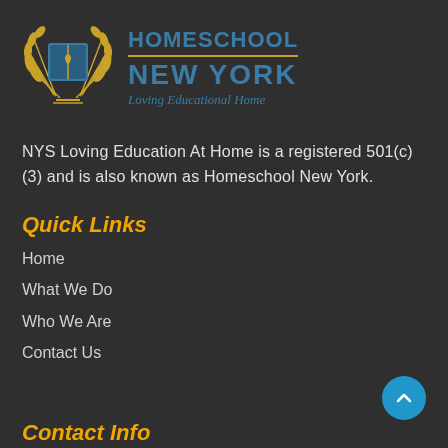[Figure (logo): Homeschool New York logo with laurel wreath emblem on the left and text 'HOMESCHOOL NEW YORK — Loving Educational Home' on the right]
NYS Loving Education At Home is a registered 501(c)(3) and is also known as Homeschool New York.
Quick Links
Home
What We Do
Who We Are
Contact Us
Contact Info